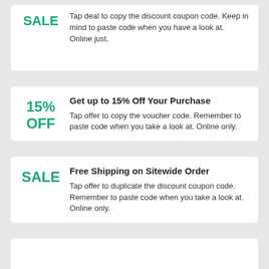SALE — Tap deal to copy the discount coupon code. Keep in mind to paste code when you have a look at. Online just.
Get up to 15% Off Your Purchase
15% OFF — Tap offer to copy the voucher code. Remember to paste code when you take a look at. Online only.
Free Shipping on Sitewide Order
SALE — Tap offer to duplicate the discount coupon code. Remember to paste code when you take a look at. Online only.